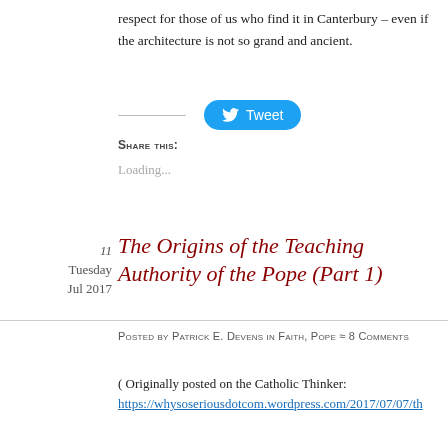respect for those of us who find it in Canterbury – even if the architecture is not so grand and ancient.
[Figure (other): Twitter Tweet button (blue rounded rectangle with bird icon and 'Tweet' text)]
Share this:
Loading...
11 Tuesday Jul 2017
The Origins of the Teaching Authority of the Pope (Part 1)
Posted by Patrick E. Devens in Faith, Pope ≈ 8 Comments
( Originally posted on the Catholic Thinker: https://whysoseriousdotcom.wordpress.com/2017/07/07/th